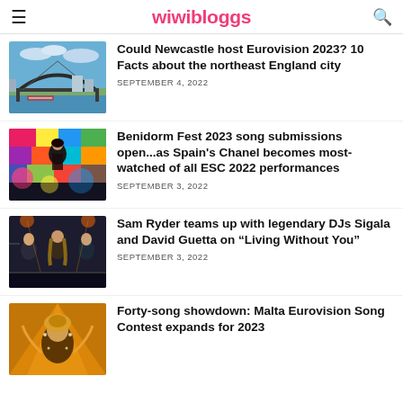wiwibloggs
Could Newcastle host Eurovision 2023? 10 Facts about the northeast England city
SEPTEMBER 4, 2022
Benidorm Fest 2023 song submissions open...as Spain's Chanel becomes most-watched of all ESC 2022 performances
SEPTEMBER 3, 2022
Sam Ryder teams up with legendary DJs Sigala and David Guetta on “Living Without You”
SEPTEMBER 3, 2022
Forty-song showdown: Malta Eurovision Song Contest expands for 2023